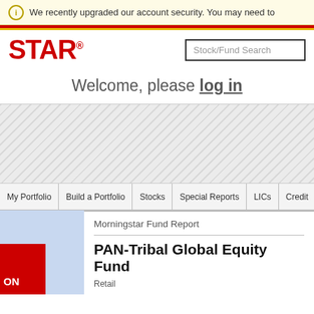We recently upgraded our account security. You may need to
[Figure (screenshot): Morningstar logo showing STAR in red bold text with registered trademark symbol]
Stock/Fund Search
Welcome, please log in
[Figure (other): Advertisement/banner area with diagonal stripe pattern]
My Portfolio
Build a Portfolio
Stocks
Special Reports
LICs
Credit
Morningstar Fund Report
PAN-Tribal Global Equity Fund
Retail